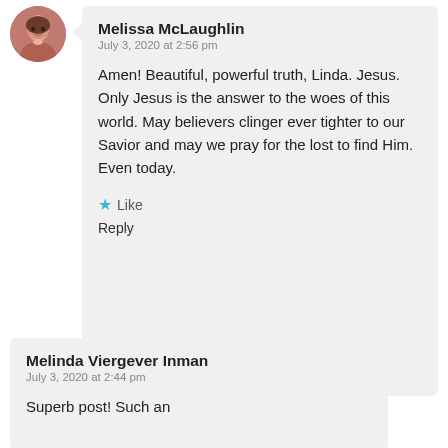[Figure (photo): Circular avatar photo of Melissa McLaughlin, a woman smiling]
Melissa McLaughlin
July 3, 2020 at 2:56 pm

Amen! Beautiful, powerful truth, Linda. Jesus. Only Jesus is the answer to the woes of this world. May believers clinger ever tighter to our Savior and may we pray for the lost to find Him. Even today.

★ Like
Reply
Melinda Viergever Inman
July 3, 2020 at 2:44 pm

Superb post! Such an